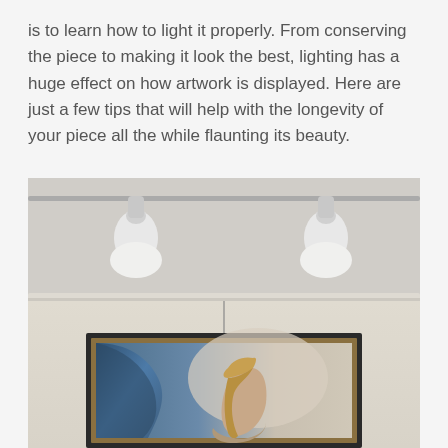is to learn how to light it properly. From conserving the piece to making it look the best, lighting has a huge effect on how artwork is displayed. Here are just a few tips that will help with the longevity of your piece all the while flaunting its beauty.
[Figure (photo): A gallery room interior with two white track lighting spotlights mounted on the ceiling rail, and below them a large framed painting showing a woman with long blonde hair seated, seen from behind, against a blue drapery background. The frame is dark with a gold inner edge.]